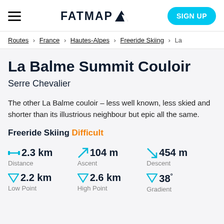FATMAP — SIGN UP
Routes > France > Hautes-Alpes > Freeride Skiing > La
La Balme Summit Couloir
Serre Chevalier
The other La Balme couloir – less well known, less skied and shorter than its illustrious neighbour but epic all the same.
Freeride Skiing Difficult
| Metric | Value | Label |
| --- | --- | --- |
| Distance | 2.3 km | Distance |
| Ascent | 104 m | Ascent |
| Descent | 454 m | Descent |
| Low Point | 2.2 km | Low Point |
| High Point | 2.6 km | High Point |
| Gradient | 38° | Gradient |